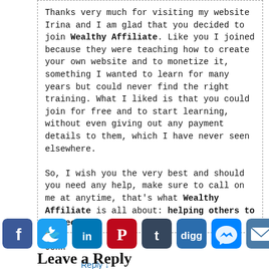Thanks very much for visiting my website Irina and I am glad that you decided to join Wealthy Affiliate. Like you I joined because they were teaching how to create your own website and to monetize it, something I wanted to learn for many years but could never find the right training. What I liked is that you could join for free and to start learning, without even giving out any payment details to them, which I have never seen elsewhere.

So, I wish you the very best and should you need any help, make sure to call on me at anytime, that’s what Wealthy Affiliate is all about: helping others to succeed.

John
Reply ↓
[Figure (other): Social sharing icons bar: Facebook (blue), Twitter (cyan), LinkedIn (blue), Pinterest (red), Tumblr (dark blue), Digg (blue), Messenger (blue), Email (blue-gray), More/Plus (gray)]
Leave a Reply